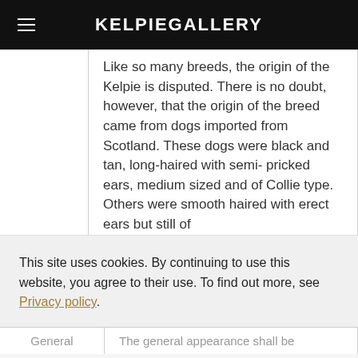KELPIEGALLERY
Like so many breeds, the origin of the Kelpie is disputed. There is no doubt, however, that the origin of the breed came from dogs imported from Scotland. These dogs were black and tan, long-haired with semi- pricked ears, medium sized and of Collie type. Others were smooth haired with erect ears but still of
This site uses cookies. By continuing to use this website, you agree to their use. To find out more, see Privacy policy.
General
The general appearance shall be